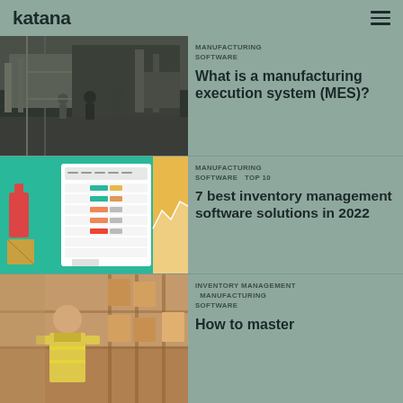katana
MANUFACTURING SOFTWARE
What is a manufacturing execution system (MES)?
MANUFACTURING SOFTWARE  TOP 10
7 best inventory management software solutions in 2022
INVENTORY MANAGEMENT  MANUFACTURING SOFTWARE
How to master